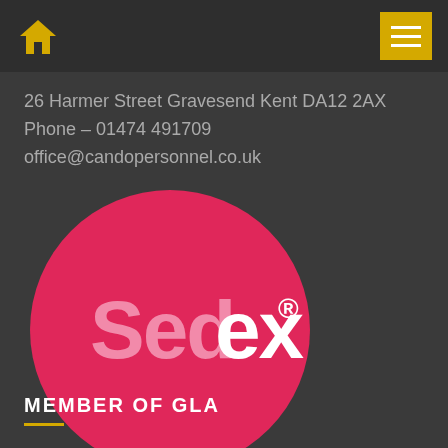Navigation bar with home icon and menu button
26 Harmer Street Gravesend Kent DA12 2AX Phone – 01474 491709 office@candopersonnel.co.uk
[Figure (logo): Sedex logo — white text 'Sedex' with registered trademark symbol on a large pink/red circle background]
MEMBER OF GLA